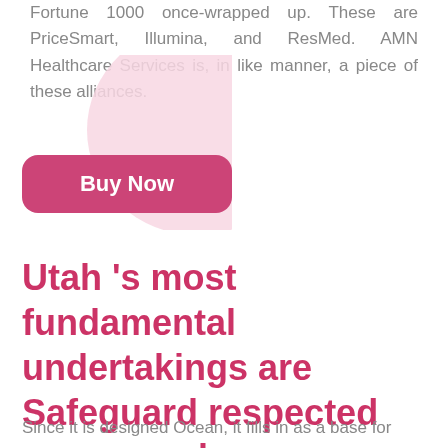Fortune 1000 once-wrapped up. These are PriceSmart, Illumina, and ResMed. AMN Healthcare Services is, in like manner, a piece of these alliances.
[Figure (illustration): Pink blob/circle decorative shape in background behind Buy Now button]
Buy Now
Utah 's most fundamental undertakings are Safeguard respected ocean packages on earth planned inSt George .
Since it is designed Ocean, it fills in as a base for